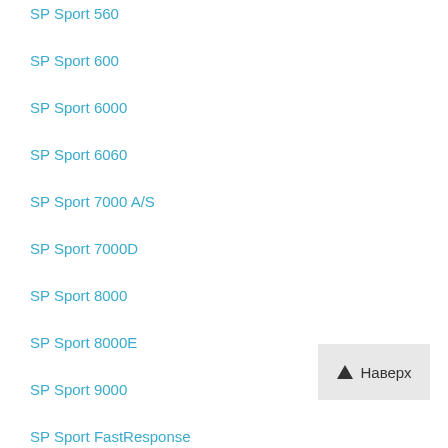SP Sport 560
SP Sport 600
SP Sport 6000
SP Sport 6060
SP Sport 7000 A/S
SP Sport 7000D
SP Sport 8000
SP Sport 8000E
SP Sport 9000
SP Sport FastResponse
SP Sport LM701